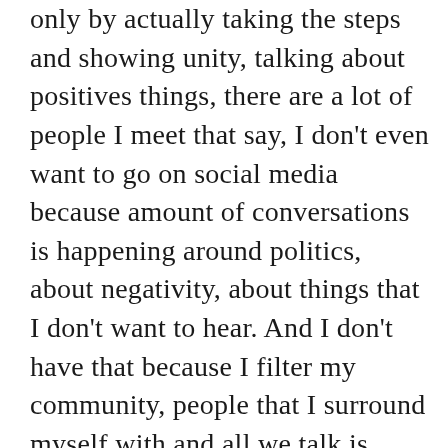only by actually taking the steps and showing unity, talking about positives things, there are a lot of people I meet that say, I don't even want to go on social media because amount of conversations is happening around politics, about negativity, about things that I don't want to hear. And I don't have that because I filter my community, people that I surround myself with and all we talk is about positivity. And recently we hosted the Women Thrive Summit, and a lot of that was focused on diversity inclusion, LGBTQ, and just generally celebrating those aspects of life. And since I started connecting with so many more people on my LinkedIn, LinkedIn, all of a sudden become the place that I want to go, because I know every time, I go on there, I see positive things. So, as much as it is on the grand